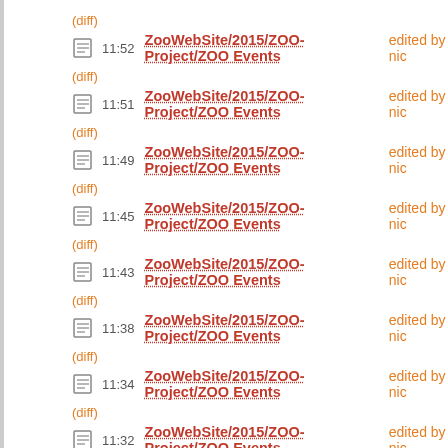(diff)
11:52 ZooWebSite/2015/ZOO-Project/ZOO Events edited by nic
(diff)
11:51 ZooWebSite/2015/ZOO-Project/ZOO Events edited by nic
(diff)
11:49 ZooWebSite/2015/ZOO-Project/ZOO Events edited by nic
(diff)
11:45 ZooWebSite/2015/ZOO-Project/ZOO Events edited by nic
(diff)
11:43 ZooWebSite/2015/ZOO-Project/ZOO Events edited by nic
(diff)
11:38 ZooWebSite/2015/ZOO-Project/ZOO Events edited by nic
(diff)
11:34 ZooWebSite/2015/ZOO-Project/ZOO Events edited by nic
(diff)
11:32 ZooWebSite/2015/ZOO-Project/ZOO Events edited by nic